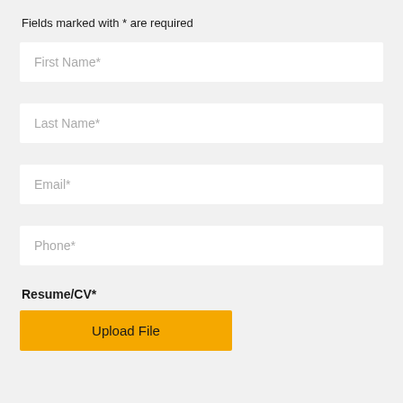Fields marked with * are required
First Name*
Last Name*
Email*
Phone*
Resume/CV*
Upload File